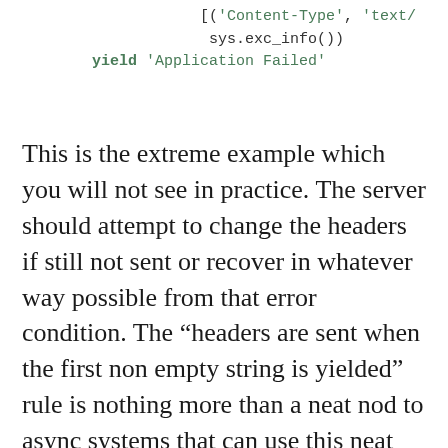[Figure (other): Python code snippet showing a list with ('Content-Type', 'text/...'), sys.exc_info(), and yield 'Application Failed']
This is the extreme example which you will not see in practice. The server should attempt to change the headers if still not sent or recover in whatever way possible from that error condition. The “headers are sent when the first non empty string is yielded” rule is nothing more than a neat nod to async systems that can use this neat trick to yield empty strings to signal that they are not ready yet. I don’t know if this was intentional behavior but the PEP is quite elaborate on